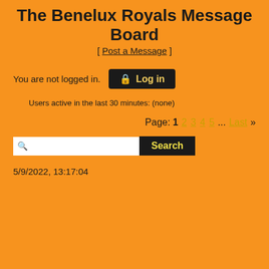The Benelux Royals Message Board
[ Post a Message ]
You are not logged in.
Users active in the last 30 minutes: (none)
Page: 1 2 3 4 5 ... Last »
5/9/2022, 13:17:04